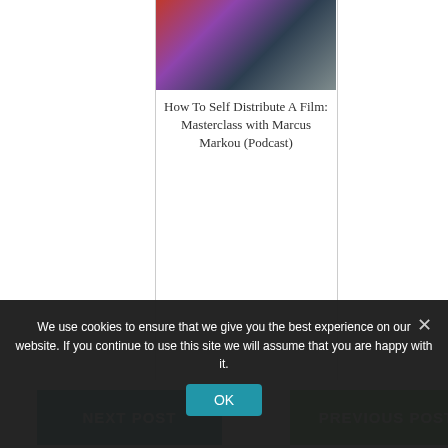[Figure (photo): Group of people standing together, one holding a basket of items]
How To Self Distribute A Film: Masterclass with Marcus Markou (Podcast)
NEXT POST
PREVIOUS POST
We use cookies to ensure that we give you the best experience on our website. If you continue to use this site we will assume that you are happy with it.
OK